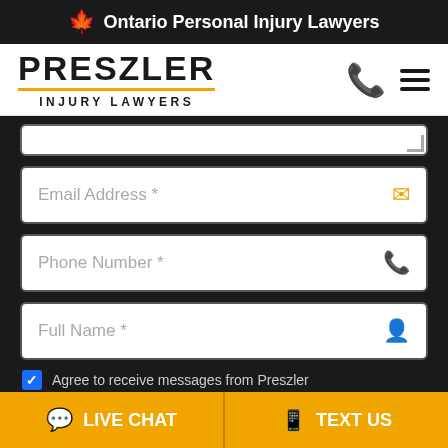Ontario Personal Injury Lawyers
[Figure (logo): Preszler Injury Lawyers logo with gold underline]
Email Address *
Phone Number *
Full Name *
Agree to receive messages from Preszler
REQUEST CALL BACK
LIVE CHAT
TEXT US